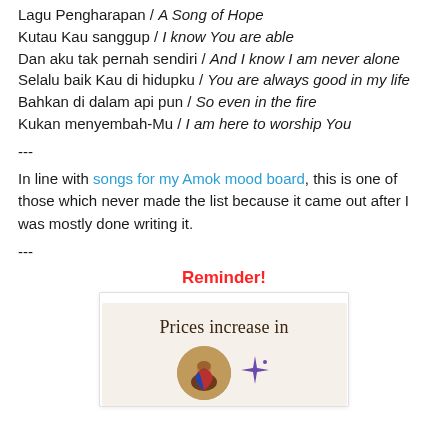Lagu Pengharapan / A Song of Hope
Kutau Kau sanggup / I know You are able
Dan aku tak pernah sendiri / And I know I am never alone
Selalu baik Kau di hidupku / You are always good in my life
Bahkan di dalam api pun / So even in the fire
Kukan menyembah-Mu / I am here to worship You
---
In line with songs for my Amok mood board, this is one of those which never made the list because it came out after I was mostly done writing it.
---
Reminder!
[Figure (illustration): A card image with 'Prices increase in' text in serif font on a beige background, with a circular medallion showing a cloaked figure and a decorative star sparkle beside it.]